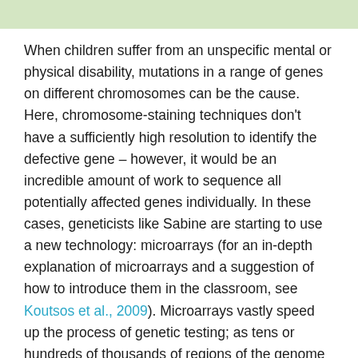[Figure (other): Light green horizontal bar at the top of the page]
When children suffer from an unspecific mental or physical disability, mutations in a range of genes on different chromosomes can be the cause. Here, chromosome-staining techniques don't have a sufficiently high resolution to identify the defective gene – however, it would be an incredible amount of work to sequence all potentially affected genes individually. In these cases, geneticists like Sabine are starting to use a new technology: microarrays (for an in-depth explanation of microarrays and a suggestion of how to introduce them in the classroom, see Koutsos et al., 2009). Microarrays vastly speed up the process of genetic testing; as tens or hundreds of thousands of regions of the genome can be tested at the same time, it is possible to test for many disorders simultaneously. In the future, scientists hope that it might be possible to develop a microarray that can test for all genetic diseases and